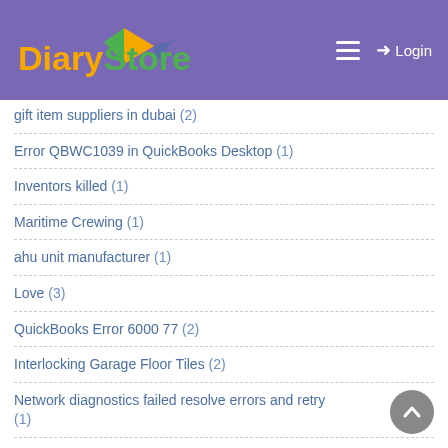Diary Store — Login
gift item suppliers in dubai (2)
Error QBWC1039 in QuickBooks Desktop (1)
Inventors killed (1)
Maritime Crewing (1)
ahu unit manufacturer (1)
Love (3)
QuickBooks Error 6000 77 (2)
Interlocking Garage Floor Tiles (2)
Network diagnostics failed resolve errors and retry (1)
#quickbooks error 6000 83 (1)
#quickbooks not withholding taxes (1)
Tom Freston (1)